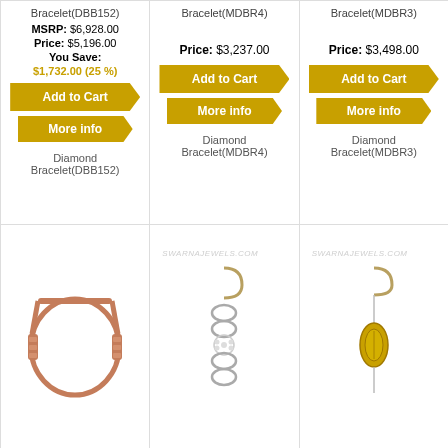Bracelet(DBB152)
MSRP: $6,928.00
Price: $5,196.00
You Save: $1,732.00 (25 %)
Add to Cart
More info
Diamond Bracelet(DBB152)
Bracelet(MDBR4)
Price: $3,237.00
Add to Cart
More info
Diamond Bracelet(MDBR4)
Bracelet(MDBR3)
Price: $3,498.00
Add to Cart
More info
Diamond Bracelet(MDBR3)
[Figure (photo): Rose gold bangle bracelet on white background]
[Figure (photo): Diamond chain bracelet with SWARNAJEWELS.COM watermark]
[Figure (photo): Gold oval pendant bracelet with SWARNAJEWELS.COM watermark]